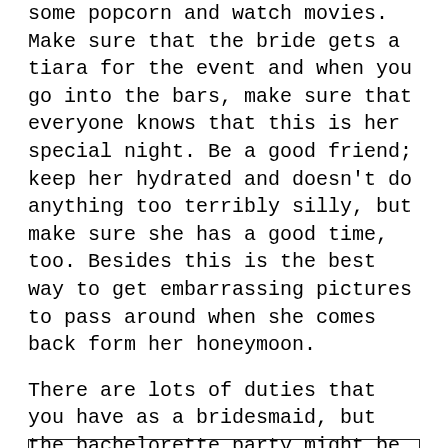some popcorn and watch movies. Make sure that the bride gets a tiara for the event and when you go into the bars, make sure that everyone knows that this is her special night. Be a good friend; keep her hydrated and doesn't do anything too terribly silly, but make sure she has a good time, too. Besides this is the best way to get embarrassing pictures to pass around when she comes back form her honeymoon.
There are lots of duties that you have as a bridesmaid, but the bachelorette party might be the most fun. Make the most of this opportunity to give your friends a good time and to take a break from the wedding!